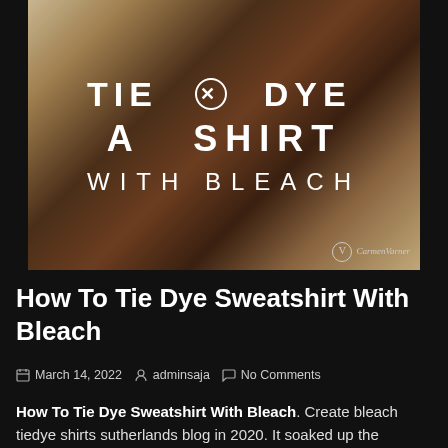[Figure (photo): A tie-dyed shirt with bleach pattern in dark brown and tan tones, with overlaid text reading 'TIE DYE A SHIRT WITH BLEACH' and a CarmenVarner watermark in the bottom right corner.]
How To Tie Dye Sweatshirt With Bleach
March 14, 2022   adminsaja   No Comments
How To Tie Dye Sweatshirt With Bleach. Create bleach tiedye shirts sutherlands blog in 2020. It soaked up the solution after 10 or 15 minutes.